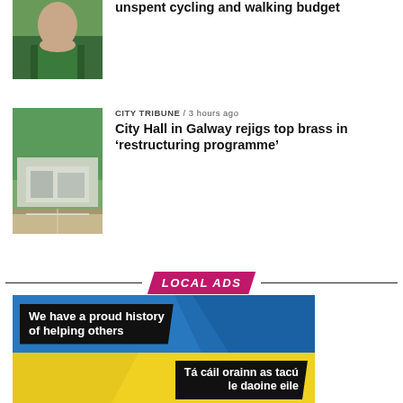unspent cycling and walking budget
[Figure (photo): Person wearing green top and dark jacket]
[Figure (photo): City Hall building exterior with car park]
CITY TRIBUNE / 3 hours ago
City Hall in Galway rejigs top brass in ‘restructuring programme’
LOCAL ADS
[Figure (infographic): Advertisement with blue and yellow sections. Blue top section reads 'We have a proud history of helping others'. Yellow bottom section reads 'Tá cáil orainn as tacú le daoine eile']